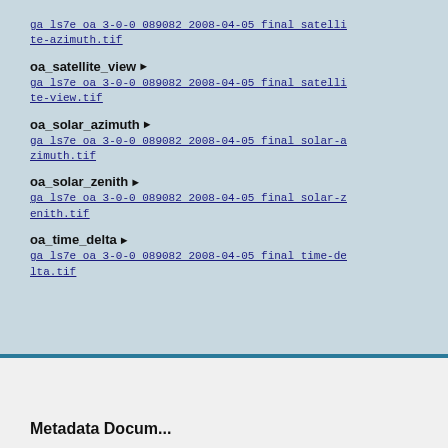ga_ls7e_oa_3-0-0_089082_2008-04-05_final_satellite-azimuth.tif
oa_satellite_view ▶
ga_ls7e_oa_3-0-0_089082_2008-04-05_final_satellite-view.tif
oa_solar_azimuth ▶
ga_ls7e_oa_3-0-0_089082_2008-04-05_final_solar-azimuth.tif
oa_solar_zenith ▶
ga_ls7e_oa_3-0-0_089082_2008-04-05_final_solar-zenith.tif
oa_time_delta ▶
ga_ls7e_oa_3-0-0_089082_2008-04-05_final_time-delta.tif
Metadata Document